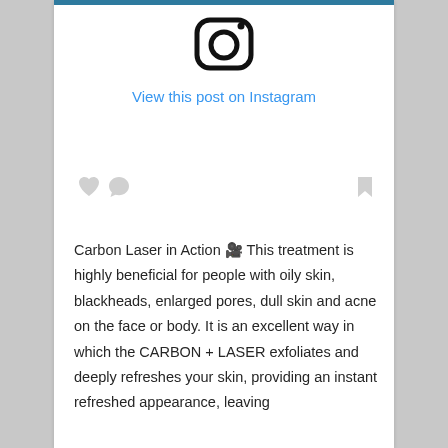[Figure (logo): Instagram camera icon logo in black outline]
View this post on Instagram
[Figure (other): Social interaction icons: heart, comment bubble, and bookmark/save icon in light gray]
Carbon Laser in Action 🎥 This treatment is highly beneficial for people with oily skin, blackheads, enlarged pores, dull skin and acne on the face or body. It is an excellent way in which the CARBON + LASER exfoliates and deeply refreshes your skin, providing an instant refreshed appearance, leaving